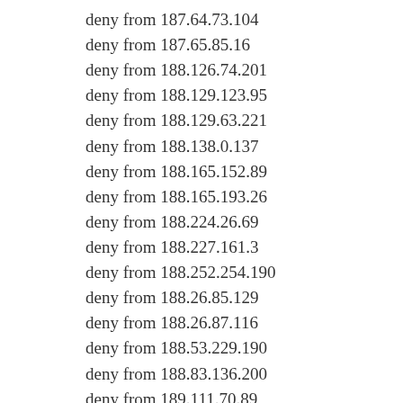deny from 187.64.73.104
deny from 187.65.85.16
deny from 188.126.74.201
deny from 188.129.123.95
deny from 188.129.63.221
deny from 188.138.0.137
deny from 188.165.152.89
deny from 188.165.193.26
deny from 188.224.26.69
deny from 188.227.161.3
deny from 188.252.254.190
deny from 188.26.85.129
deny from 188.26.87.116
deny from 188.53.229.190
deny from 188.83.136.200
deny from 189.111.70.89
deny from 189.114.168.205
deny from 189.121.199.210
deny from 189.13.136.42